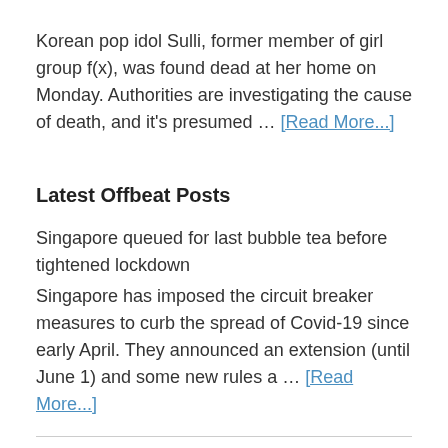Korean pop idol Sulli, former member of girl group f(x), was found dead at her home on Monday. Authorities are investigating the cause of death, and it's presumed … [Read More...]
Latest Offbeat Posts
Singapore queued for last bubble tea before tightened lockdown
Singapore has imposed the circuit breaker measures to curb the spread of Covid-19 since early April. They announced an extension (until June 1) and some new rules a … [Read More...]